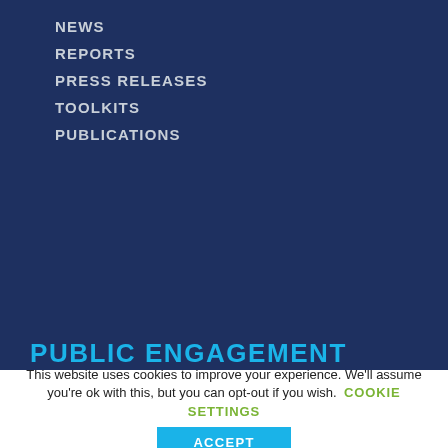NEWS
REPORTS
PRESS RELEASES
TOOLKITS
PUBLICATIONS
PUBLIC ENGAGEMENT
WORKSHOPS AND EVENTS
HOW YOU CAN HELP
EDUCATION
This website uses cookies to improve your experience. We'll assume you're ok with this, but you can opt-out if you wish. COOKIE SETTINGS
ACCEPT